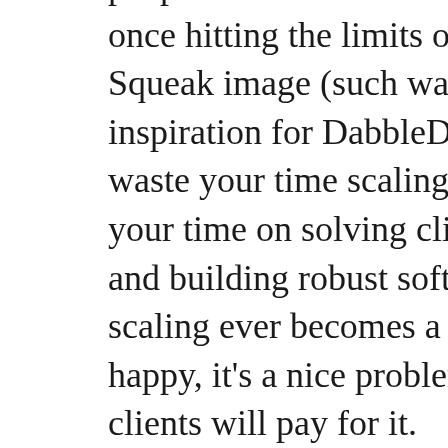people's lives easier without ever once hitting the limits of a single Squeak image (such was the inspiration for DabbleDB), so don't waste your time scaling (yet). Spend your time on solving client problems and building robust software. If scaling ever becomes a problem, be happy, it's a nice problem and your clients will pay for it.
In contrast to other “web frameworks” Seaside does not provide a ready-made persistency solution for you. We consider this to be an advantage, Seaside lets you choose the database technology that fits your needs the best and concentrates on what it is strong at, web application development.